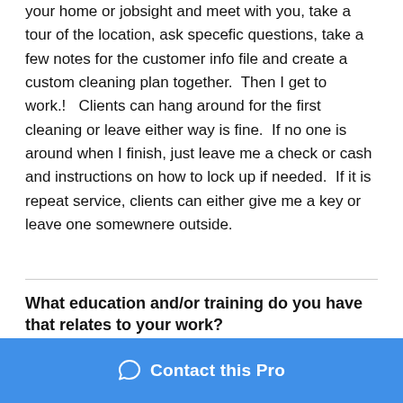your home or jobsight and meet with you, take a tour of the location, ask specefic questions, take a few notes for the customer info file and create a custom cleaning plan together.  Then I get to work.!   Clients can hang around for the first cleaning or leave either way is fine.  If no one is around when I finish, just leave me a check or cash and instructions on how to lock up if needed.  If it is repeat service, clients can either give me a key or leave one somewnere outside.
What education and/or training do you have that relates to your work?
I have 15 years in the job experience. I was taught by my Mother but I have worked with the more for since before…